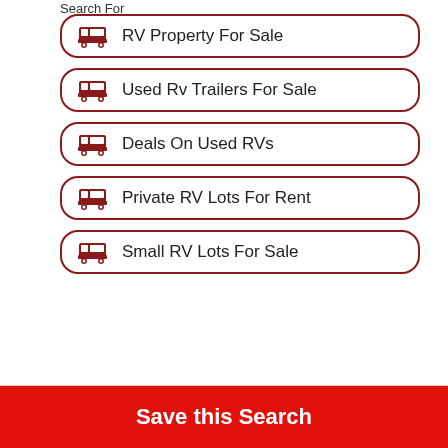Search For
RV Property For Sale
Used Rv Trailers For Sale
Deals On Used RVs
Private RV Lots For Rent
Small RV Lots For Sale
Save this Search